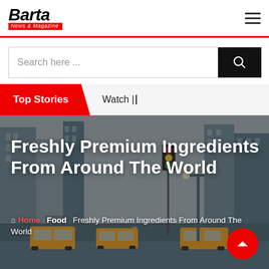Barta News & Magazine
[Figure (screenshot): Search bar with text input 'Search here ...' and black search button]
Top Stories   Watch |
[Figure (photo): City street scene with yellow taxis and tall buildings in New York City]
Freshly Premium Ingredients From Around The World
Home / Food / Freshly Premium Ingredients From Around The World